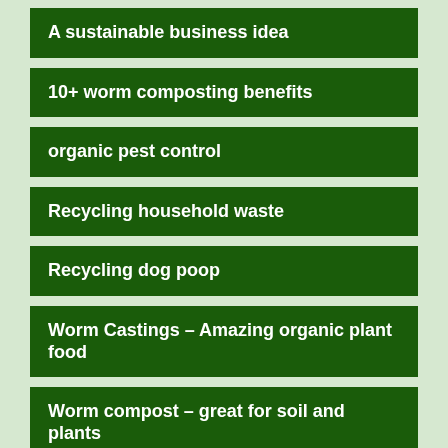A sustainable business idea
10+ worm composting benefits
organic pest control
Recycling household waste
Recycling dog poop
Worm Castings – Amazing organic plant food
Worm compost – great for soil and plants
Compost tea – liquid nourishment for your plants